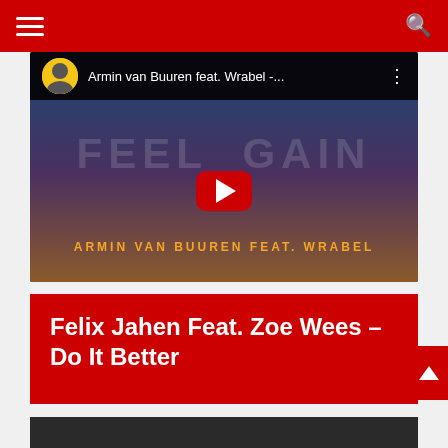Navigation bar with hamburger menu and search icon
[Figure (screenshot): YouTube video embed showing Armin van Buuren feat. Wrabel - Feel Again music video thumbnail with red play button, FEEL GAIN text in background, and artist credit at bottom]
Felix Jahen Feat. Zoe Wees – Do It Better
[Figure (screenshot): Bottom portion of a dark video thumbnail, partially visible]